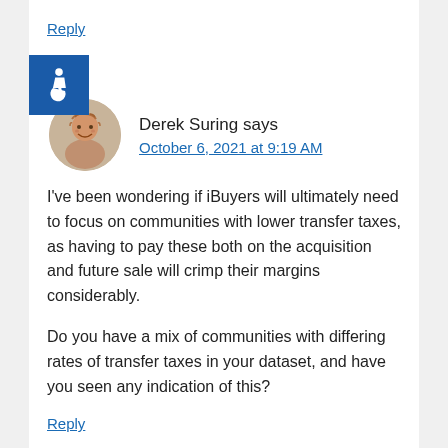Reply
[Figure (illustration): Blue accessibility icon (wheelchair symbol) on a blue square background]
Derek Suring says
October 6, 2021 at 9:19 AM
I've been wondering if iBuyers will ultimately need to focus on communities with lower transfer taxes, as having to pay these both on the acquisition and future sale will crimp their margins considerably.
Do you have a mix of communities with differing rates of transfer taxes in your dataset, and have you seen any indication of this?
Reply